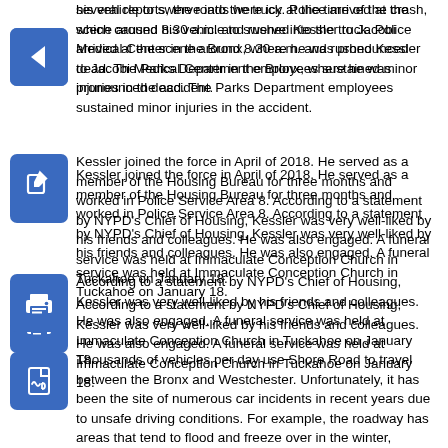several reports, the roads were icy at the time of the crash, which caused his vehicle to swerve into the truck. Police arrived at the scene around 8.30 a.m. and rushed Kessler to Jacobi Medical Center in the Bronx, where he was pronounced dead. The Parks Department employees sustained minor injuries in the accident.
Kessler joined the force in April of 2018. He served as a member of the Housing Bureau for three months and worked in Police Service Area 8. According to a statement by NYPD's Chief of Housing, Kessler was very well-liked by his friends and colleagues. He was also engaged. A funeral service was held at Immaculate Conception Church in Tuckahoe on January 18.
Thousands of vehicles per day use Shore Road to travel between the Bronx and Westchester. Unfortunately, it has been the site of numerous car incidents in recent years due to unsafe driving conditions. For example, the roadway has areas that tend to flood and freeze over in the winter, creating a considerable ice threat. In August of 2018, a $1.48 million topographical and traffic study was launched in an attempt to make Shore Road safer for driving. The project is expected to be finished by November of 2019.
A wide variety of emotions may flood one's mind when behind the wheel for the first time. Many people feel excited about the freedom that comes with driving a car, while others are terrified of controlling such a powerful vehicle. Regardless, the most important rule for all drivers is to be cautious